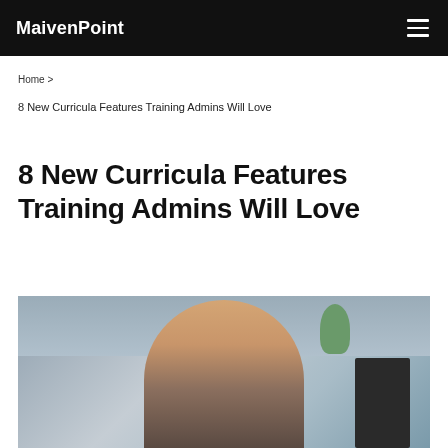MaivenPoint
Home >
8 New Curricula Features Training Admins Will Love
8 New Curricula Features Training Admins Will Love
[Figure (photo): A woman smiling and working at a desk with a laptop or monitor, with a plant in the background against a grey-blue wall.]